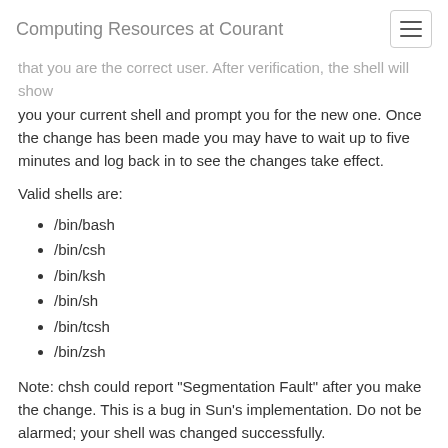Computing Resources at Courant
that you are the correct user. After verification, the shell will show you your current shell and prompt you for the new one. Once the change has been made you may have to wait up to five minutes and log back in to see the changes take effect.
Valid shells are:
/bin/bash
/bin/csh
/bin/ksh
/bin/sh
/bin/tcsh
/bin/zsh
Note: chsh could report "Segmentation Fault" after you make the change. This is a bug in Sun's implementation. Do not be alarmed; your shell was changed successfully.
Dot files and directories
Your personal computing environment is defined by how it interacts